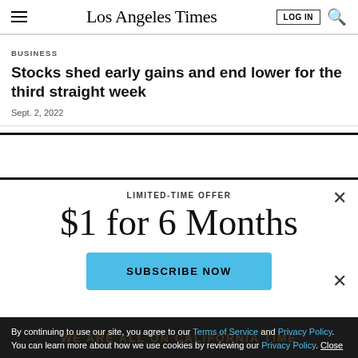Los Angeles Times
BUSINESS
Stocks shed early gains and end lower for the third straight week
Sept. 2, 2022
LIMITED-TIME OFFER
$1 for 6 Months
SUBSCRIBE NOW
By continuing to use our site, you agree to our Terms of Service and Privacy Policy. You can learn more about how we use cookies by reviewing our Privacy Policy. Close